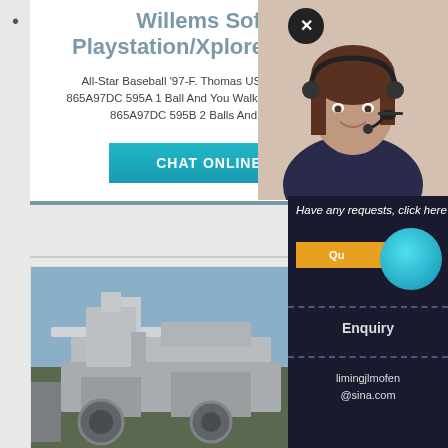Willems Soft - Playstation/Xplorer Codes
All-Star Baseball '97-F. Thomas USA Infinite Balls: 865A97DC 595A 1 Ball And You Walk: 7E5A97DC 595A 865A97DC 595B 2 Balls And You Walk
[Figure (screenshot): CHAT ONLINE button with teal/cyan gradient background]
[Figure (photo): Industrial mining/crushing machinery photographed outdoors against blue sky]
[Figure (screenshot): Customer service popup with agent photo, Have any requests click here text, Quote button, teal circle, Enquiry section, and email limingjlmofen@sina.com]